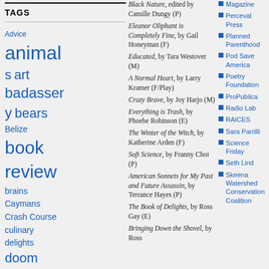TAGS
Advice
animals
art
badassery
bears
Belize
book review
brains
Caymans
Crash Course
culinary delights
doom
family
farming
glacier
Black Nature, edited by Camille Dungy (P)
Eleanor Oliphant is Completely Fine, by Gail Honeyman (F)
Educated, by Tara Westover (M)
A Normal Heart, by Larry Kramer (F/Play)
Crazy Brave, by Joy Harjo (M)
Everything is Trash, by Phoebe Robinson (E)
The Winter of the Witch, by Katherine Arden (F)
Soft Science, by Franny Choi (P)
American Sonnets for My Past and Future Assassin, by Terrance Hayes (P)
The Book of Delights, by Ross Gay (E)
Bringing Down the Shovel, by Ross
Magazine
Perceval Press
Planned Parenthood
Pod Save America
Poetry Foundation
ProPublica
Radio Lab
RAICES
Sara Parrilli
Science Friday
Seth Lind
Skeena Watershed Conservation Coalition